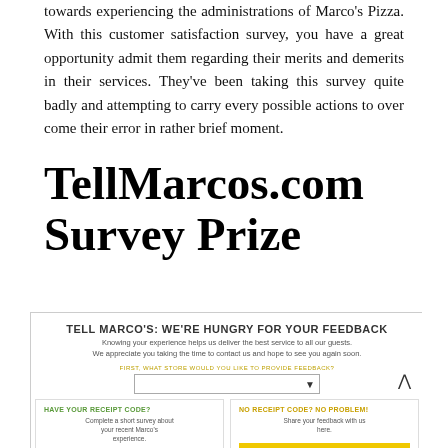towards experiencing the administrations of Marco's Pizza. With this customer satisfaction survey, you have a great opportunity admit them regarding their merits and demerits in their services. They've been taking this survey quite badly and attempting to carry every possible actions to over come their error in rather brief moment.
TellMarcos.com Survey Prize
[Figure (screenshot): Screenshot of TellMarcos.com survey website showing 'TELL MARCO'S: WE'RE HUNGRY FOR YOUR FEEDBACK' header, a subtext about knowing your experience, a dropdown asking 'FIRST, WHAT STORE WOULD YOU LIKE TO PROVIDE FEEDBACK?', a chevron up arrow, and two cards: 'HAVE YOUR RECEIPT CODE?' with 'Complete a short survey about your recent Marco's experience.' and a 'START SURVEY' yellow button, and 'NO RECEIPT CODE? NO PROBLEM!' with 'Share your feedback with us here.' and a 'GIVE FEEDBACK' yellow button.]